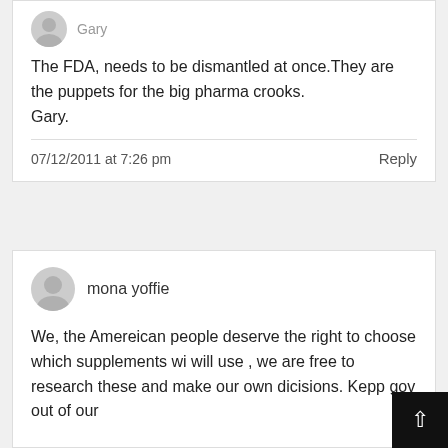The FDA, needs to be dismantled at once.They are the puppets for the big pharma crooks.
Gary.
07/12/2011 at 7:26 pm
Reply
mona yoffie
We, the Amereican people deserve the right to choose which supplements wi will use , we are free to research these and make our own dicisions. Kepp gov out of our